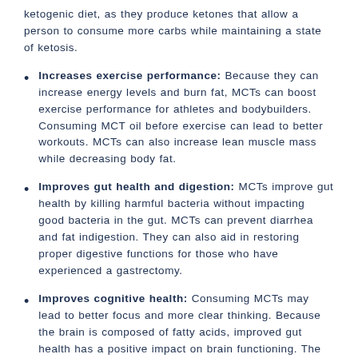ketogenic diet, as they produce ketones that allow a person to consume more carbs while maintaining a state of ketosis.
Increases exercise performance: Because they can increase energy levels and burn fat, MCTs can boost exercise performance for athletes and bodybuilders. Consuming MCT oil before exercise can lead to better workouts. MCTs can also increase lean muscle mass while decreasing body fat.
Improves gut health and digestion: MCTs improve gut health by killing harmful bacteria without impacting good bacteria in the gut. MCTs can prevent diarrhea and fat indigestion. They can also aid in restoring proper digestive functions for those who have experienced a gastrectomy.
Improves cognitive health: Consuming MCTs may lead to better focus and more clear thinking. Because the brain is composed of fatty acids, improved gut health has a positive impact on brain functioning. The ketones produced by MCTs are also able to fuel the central